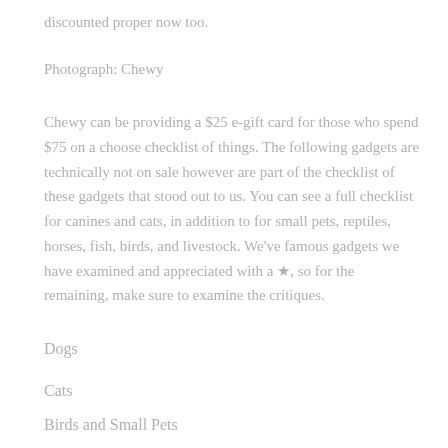discounted proper now too.
Photograph: Chewy
Chewy can be providing a $25 e-gift card for those who spend $75 on a choose checklist of things. The following gadgets are technically not on sale however are part of the checklist of these gadgets that stood out to us. You can see a full checklist for canines and cats, in addition to for small pets, reptiles, horses, fish, birds, and livestock. We've famous gadgets we have examined and appreciated with a ★, so for the remaining, make sure to examine the critiques.
Dogs
Cats
Birds and Small Pets